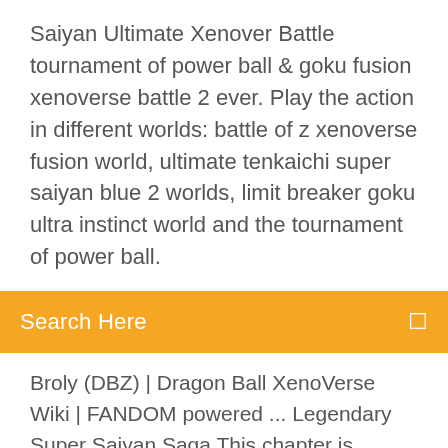Saiyan Ultimate Xenover Battle tournament of power ball & goku fusion xenoverse battle 2 ever. Play the action in different worlds: battle of z xenoverse fusion world, ultimate tenkaichi super saiyan blue 2 worlds, limit breaker goku ultra instinct world and the tournament of power ball.
Search Here
Broly (DBZ) | Dragon Ball XenoVerse Wiki | FANDOM powered ... Legendary Super Saiyan Saga This chapter is exclusively based on this character. Parallel Quests. 51. Heated, Furious, Ultimate Battle Broly is the only enemy in this Parallel Quest. 53. Dangerous Duo! Warriors Never Rest Broly is the only enemy in this Parallel Quest. 54. Saiyan Warriors Broly is the last enemy in this Parallel Quest. 55 ... Super Saiyan: Xenoverse Battle APK 1.0 Download - Free ... More than 50000 is playing Super Saiyan: Xenoverse Battle right now. Coming to join them and download Super Saiyan: Xenoverse Battle directly! What's New. Limit